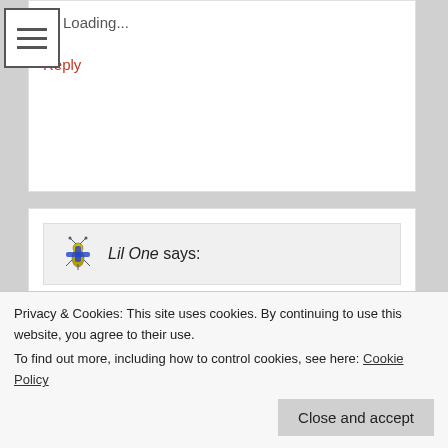Loading...
Reply
Lil One says:
May 21, 2016 at 03:59
Now your going deaf too hg . It has begun ..
Loading...
Privacy & Cookies: This site uses cookies. By continuing to use this website, you agree to their use.
To find out more, including how to control cookies, see here: Cookie Policy
Close and accept